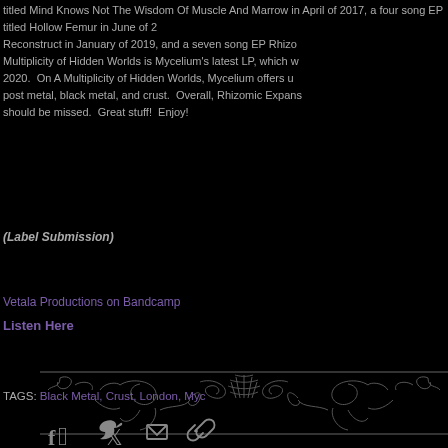titled Mind Knows Not The Wisdom Of Muscle And Marrow in April of 2017, a four song EP titled Hollow Femur in June of [year], Reconstruct in January of 2019, and a seven song EP Rhizo[mic...] Multiplicity of Hidden Worlds is Mycelium's latest LP, which w[as released in] 2020.  On A Multiplicity of Hidden Worlds, Mycelium offers u[s a blend of] post metal, black metal, and crust.  Overall, Rhizomic Expans[ion...] should be missed.  Great stuff!  Enjoy!
(Label Submission)
Vetala Productions on Bandcamp
Listen Here
TAGS: Black Metal, Crust, London, Myc[elium...]
[Figure (illustration): Decorative ornamental flourish design in dark gray on black background, Victorian-style scrollwork with floral elements]